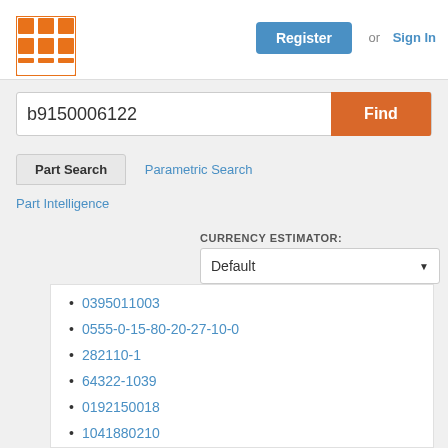[Figure (logo): Orange grid/matrix logo icon in top left header]
Register or Sign In
b9150006122
Find
Part Search
Parametric Search
Part Intelligence
CURRENCY ESTIMATOR: Default
0395011003
0555-0-15-80-20-27-10-0
282110-1
64322-1039
0192150018
1041880210